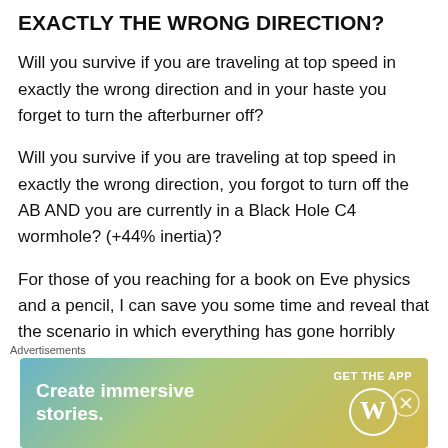EXACTLY THE WRONG DIRECTION?
Will you survive if you are traveling at top speed in exactly the wrong direction and in your haste you forget to turn the afterburner off?
Will you survive if you are traveling at top speed in exactly the wrong direction, you forgot to turn off the AB AND you are currently in a Black Hole C4 wormhole? (+44% inertia)?
For those of you reaching for a book on Eve physics and a pencil, I can save you some time and reveal that the scenario in which everything has gone horribly wrong will result in one destroyed RR BS while three warp
Advertisements
[Figure (other): WordPress advertisement banner reading 'Create immersive stories.' with 'GET THE APP' call to action and WordPress logo]